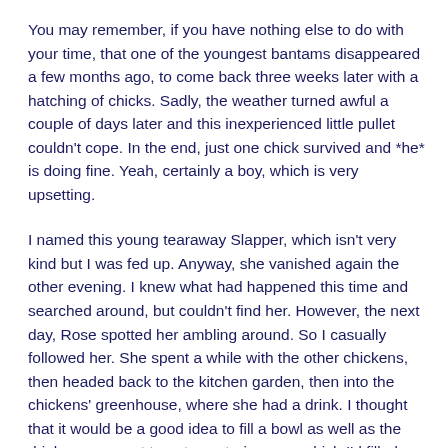You may remember, if you have nothing else to do with your time, that one of the youngest bantams disappeared a few months ago, to come back three weeks later with a hatching of chicks. Sadly, the weather turned awful a couple of days later and this inexperienced little pullet couldn't cope. In the end, just one chick survived and *he* is doing fine. Yeah, certainly a boy, which is very upsetting.
I named this young tearaway Slapper, which isn't very kind but I was fed up. Anyway, she vanished again the other evening. I knew what had happened this time and searched around, but couldn't find her. However, the next day, Rose spotted her ambling around. So I casually followed her. She spent a while with the other chickens, then headed back to the kitchen garden, then into the chickens' greenhouse, where she had a drink. I thought that it would be a good idea to fill a bowl as well as the drinkers, so went to get a watering can, which I'd filled earlier in the day. But I was too late, because Slapper